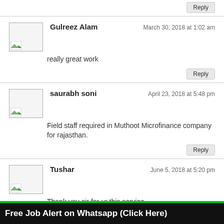Reply
Gulreez Alam — March 30, 2018 at 1:02 am
really great work
Reply
saurabh soni — April 23, 2018 at 5:48 pm
Field staff required in Muthoot Microfinance company for rajasthan.
Reply
Tushar — June 5, 2018 at 5:20 pm
Thank you sir for ur this service
Reply
Taalim — June 7, 2018 at 8:53 pm
Am complete 12thclass commerce I need a job so tell to me sir
Reply
Free Job Alert on Whatsapp (Click Here)